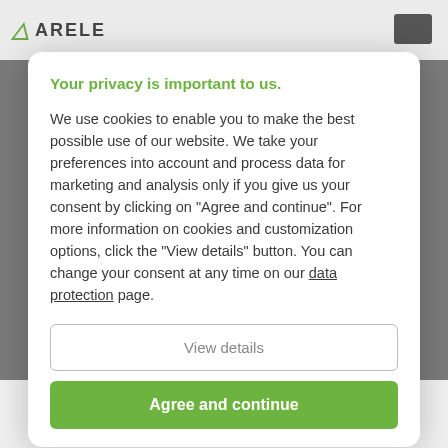[Figure (screenshot): Background website header with ARELE logo and hamburger menu button, and footer text 'well as to the relevant contact persons in the respective departments. Our']
Your privacy is important to us.
We use cookies to enable you to make the best possible use of our website. We take your preferences into account and process data for marketing and analysis only if you give us your consent by clicking on "Agree and continue". For more information on cookies and customization options, click the "View details" button. You can change your consent at any time on our data protection page.
View details
Agree and continue